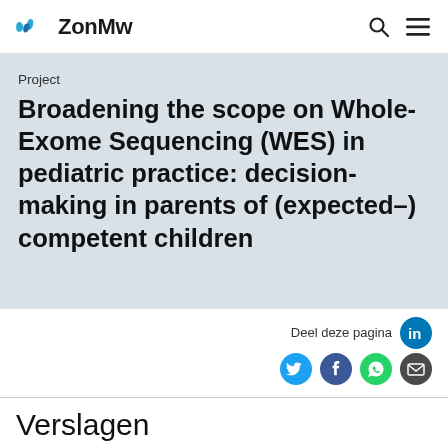ZonMw
Project
Broadening the scope on Whole-Exome Sequencing (WES) in pediatric practice: decision-making in parents of (expected-) competent children
Deel deze pagina
Verslagen